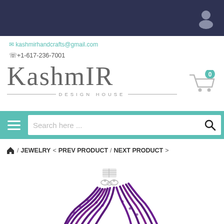Kashmir Design House website header
✉ kashmirhandcrafts@gmail.com
☎+1-617-236-7001
[Figure (logo): Kashmir Design House logo with stylized serif text and decorative lines]
Search here ...
🏠 / JEWELRY  < PREV PRODUCT / NEXT PRODUCT >
[Figure (photo): Close-up photo of a multi-strand purple amethyst bead necklace with silver clasp]